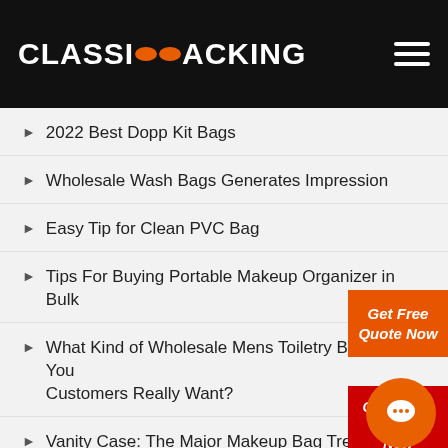CLASSICOOPACKING
2022 Best Dopp Kit Bags
Wholesale Wash Bags Generates Impression
Easy Tip for Clean PVC Bag
Tips For Buying Portable Makeup Organizer in Bulk
What Kind of Wholesale Mens Toiletry Bags Does Your Customers Really Want?
Vanity Case: The Major Makeup Bag Trend in 2022
The Truth of Eco-friendly Makeup Bags
Retain Brand Image in Eco Friendly Packaging
Eco-friendly Packaging Has Become an Industry Trend